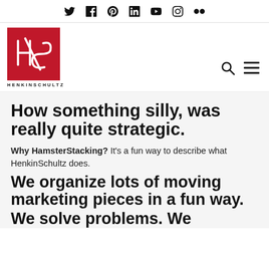Twitter Facebook Pinterest LinkedIn YouTube Instagram Flickr
[Figure (logo): HenkinSchultz logo — white script HS on red square background, with HENKINSCHULTZ text below]
How something silly, was really quite strategic.
Why HamsterStacking? It's a fun way to describe what HenkinSchultz does.
We organize lots of moving marketing pieces in a fun way.
We solve problems. We